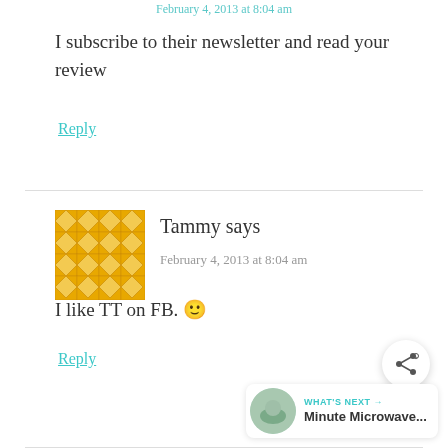February 4, 2013 at 8:04 am
I subscribe to their newsletter and read your review
Reply
Tammy says
February 4, 2013 at 8:04 am
I like TT on FB. 🙂
Reply
WHAT'S NEXT → Minute Microwave...